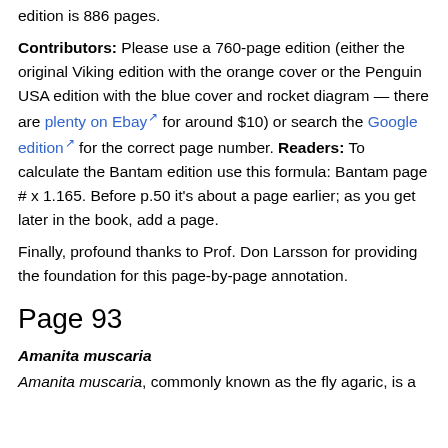edition is 886 pages.
Contributors: Please use a 760-page edition (either the original Viking edition with the orange cover or the Penguin USA edition with the blue cover and rocket diagram — there are plenty on Ebay for around $10) or search the Google edition for the correct page number. Readers: To calculate the Bantam edition use this formula: Bantam page # x 1.165. Before p.50 it's about a page earlier; as you get later in the book, add a page.
Finally, profound thanks to Prof. Don Larsson for providing the foundation for this page-by-page annotation.
Page 93
Amanita muscaria
Amanita muscaria, commonly known as the fly agaric, is a